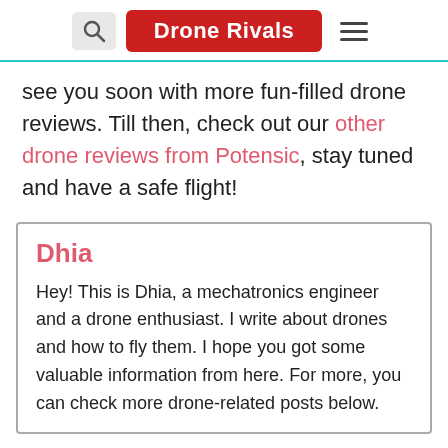Drone Rivals
see you soon with more fun-filled drone reviews. Till then, check out our other drone reviews from Potensic, stay tuned and have a safe flight!
Dhia
Hey! This is Dhia, a mechatronics engineer and a drone enthusiast. I write about drones and how to fly them. I hope you got some valuable information from here. For more, you can check more drone-related posts below.